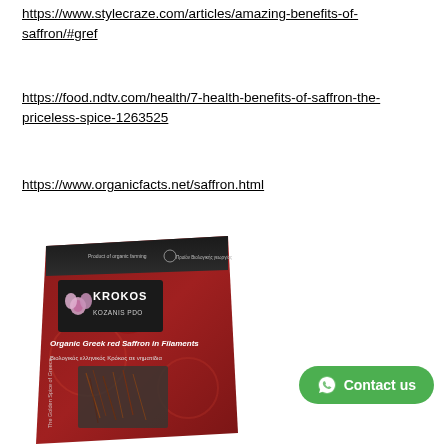https://www.stylecraze.com/articles/amazing-benefits-of-saffron/#gref
https://food.ndtv.com/health/7-health-benefits-of-saffron-the-priceless-spice-1263525
https://www.organicfacts.net/saffron.html
[Figure (photo): Product photo of a red box of Krokos Kozanis PDO Organic Greek red Saffron in Filaments (Βιολογικός ελληνικός Κρόκος σε νηματίδια), showing the box with a clear window revealing saffron threads inside.]
Contact us